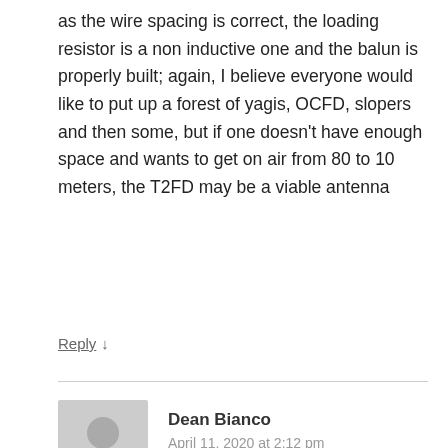as the wire spacing is correct, the loading resistor is a non inductive one and the balun is properly built; again, I believe everyone would like to put up a forest of yagis, OCFD, slopers and then some, but if one doesn't have enough space and wants to get on air from 80 to 10 meters, the T2FD may be a viable antenna
Reply ↓
Dean Bianco
April 11, 2020 at 2:12 pm
Andrew,
I currently use a commercially-built T2FD made by B-Squared Engineering in Texas. I use mine for receive only, so bear that in mind. For me, omnidirectionality is of utmost importance